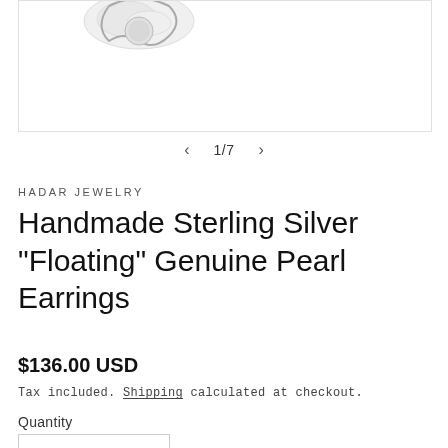[Figure (photo): Partial view of a handmade sterling silver floating pearl earring on a white background, shown in an image gallery box with a border.]
1/7
HADAR JEWELRY
Handmade Sterling Silver "Floating" Genuine Pearl Earrings
$136.00 USD
Tax included. Shipping calculated at checkout.
Quantity